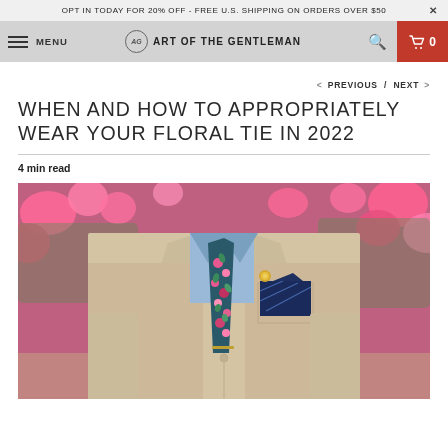OPT IN TODAY FOR 20% OFF - FREE U.S. SHIPPING ON ORDERS OVER $50
MENU | AG ART OF THE GENTLEMAN | 0
< PREVIOUS / NEXT >
WHEN AND HOW TO APPROPRIATELY WEAR YOUR FLORAL TIE IN 2022
4 min read
[Figure (photo): A man in a beige/tan suit wearing a blue shirt with a floral tie (navy with pink and teal flowers), a gold lapel pin, and a navy striped pocket square. Pink flowers visible in the blurred background.]